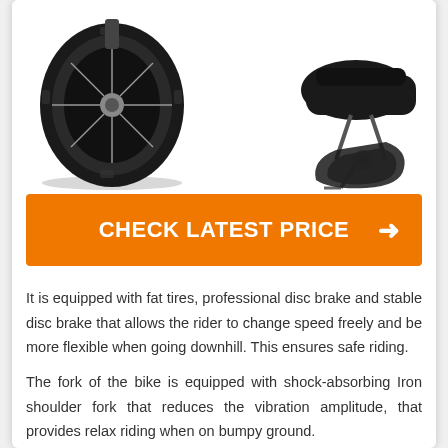[Figure (photo): Two partial views of a fat-tire bicycle: left side shows the front wheel with thick black tire and spokes; right side shows the rear area with a kickstand and black seat.]
CHECK LATEST PRICE →
It is equipped with fat tires, professional disc brake and stable disc brake that allows the rider to change speed freely and be more flexible when going downhill. This ensures safe riding.
The fork of the bike is equipped with shock-absorbing Iron shoulder fork that reduces the vibration amplitude, that provides relax riding when on bumpy ground.